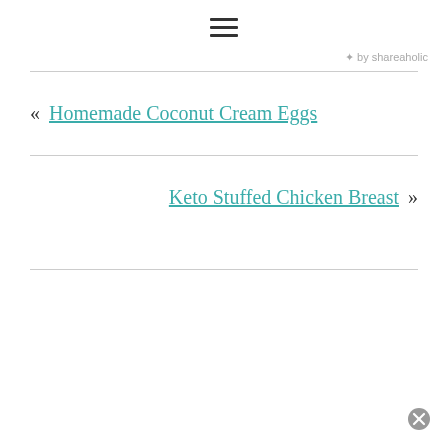≡ (menu icon)
✦ by shareaholic
« Homemade Coconut Cream Eggs
Keto Stuffed Chicken Breast »